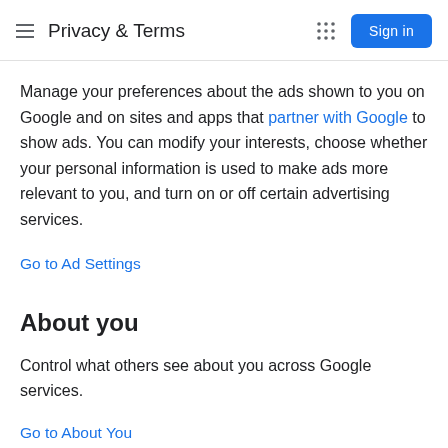Privacy & Terms
Manage your preferences about the ads shown to you on Google and on sites and apps that partner with Google to show ads. You can modify your interests, choose whether your personal information is used to make ads more relevant to you, and turn on or off certain advertising services.
Go to Ad Settings
About you
Control what others see about you across Google services.
Go to About You